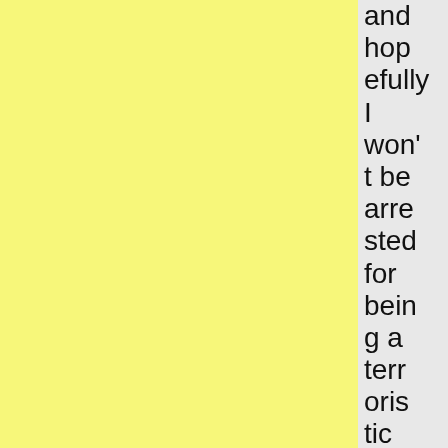and hopefully I won't be arrested for being a terroristic stalker and potential contaminator of